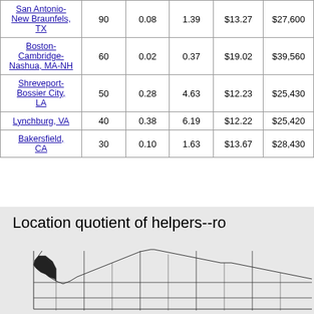| San Antonio-New Braunfels, TX | 90 | 0.08 | 1.39 | $13.27 | $27,600 |
| Boston-Cambridge-Nashua, MA-NH | 60 | 0.02 | 0.37 | $19.02 | $39,560 |
| Shreveport-Bossier City, LA | 50 | 0.28 | 4.63 | $12.23 | $25,430 |
| Lynchburg, VA | 40 | 0.38 | 6.19 | $12.22 | $25,420 |
| Bakersfield, CA | 30 | 0.10 | 1.63 | $13.67 | $28,430 |
[Figure (map): Partial map showing location quotient of helpers--ro... (title cut off). Shows a US map outline with state/region boundaries, partially visible.]